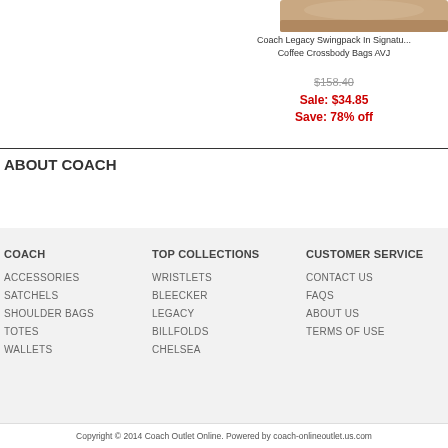[Figure (photo): Partial product image of a Coach bag in brown/tan color]
Coach Legacy Swingpack In Signature Coffee Crossbody Bags AVJ
$158.40
Sale: $34.85
Save: 78% off
ABOUT COACH
COACH
TOP COLLECTIONS
CUSTOMER SERVICE
ACCESSORIES
SATCHELS
SHOULDER BAGS
TOTES
WALLETS
WRISTLETS
BLEECKER
LEGACY
BILLFOLDS
CHELSEA
CONTACT US
FAQS
ABOUT US
TERMS OF USE
Copyright © 2014 Coach Outlet Online. Powered by coach-onlineoutlet.us.com